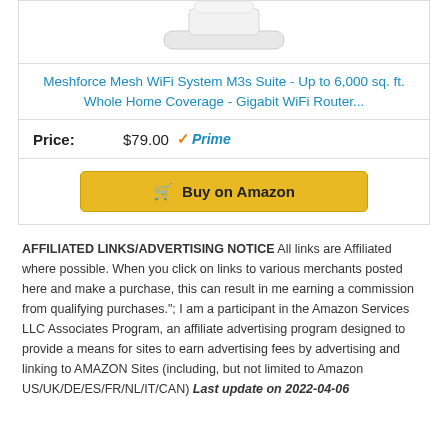[Figure (photo): White WiFi router/mesh device, partially cropped at top]
Meshforce Mesh WiFi System M3s Suite - Up to 6,000 sq. ft. Whole Home Coverage - Gigabit WiFi Router...
Price: $79.00 ✓Prime
Buy on Amazon
AFFILIATED LINKS/ADVERTISING NOTICE All links are Affiliated where possible. When you click on links to various merchants posted here and make a purchase, this can result in me earning a commission from qualifying purchases.";  I am a participant in the Amazon Services LLC Associates Program, an affiliate advertising program designed to provide a means for sites to earn advertising fees by advertising and linking to AMAZON Sites (including, but not limited to Amazon US/UK/DE/ES/FR/NL/IT/CAN) Last update on 2022-04-06